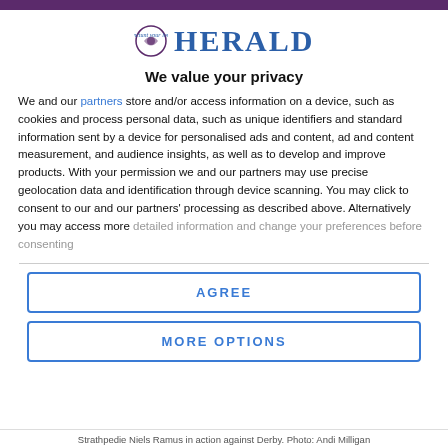Herald
We value your privacy
We and our partners store and/or access information on a device, such as cookies and process personal data, such as unique identifiers and standard information sent by a device for personalised ads and content, ad and content measurement, and audience insights, as well as to develop and improve products. With your permission we and our partners may use precise geolocation data and identification through device scanning. You may click to consent to our and our partners' processing as described above. Alternatively you may access more detailed information and change your preferences before consenting
AGREE
MORE OPTIONS
Strathpedie Niels Ramus in action against Derby. Photo: Andi Milligan